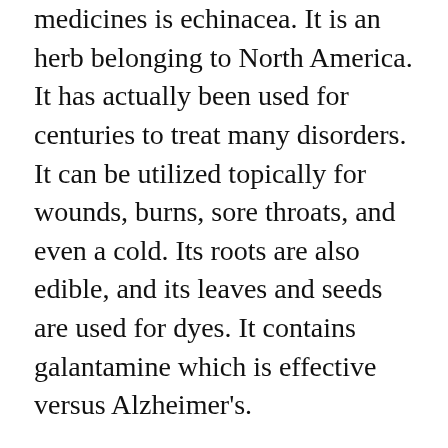medicines is echinacea. It is an herb belonging to North America. It has actually been used for centuries to treat many disorders. It can be utilized topically for wounds, burns, sore throats, and even a cold. Its roots are also edible, and its leaves and seeds are used for dyes. It contains galantamine which is effective versus Alzheimer's.
Some individuals believe that echinacea is a natural antibiotic. Nevertheless, this is not true. It can cause adverse effects. It is necessary to utilize qualified herbal medications and to discuss any adverse effects with your health care provider.